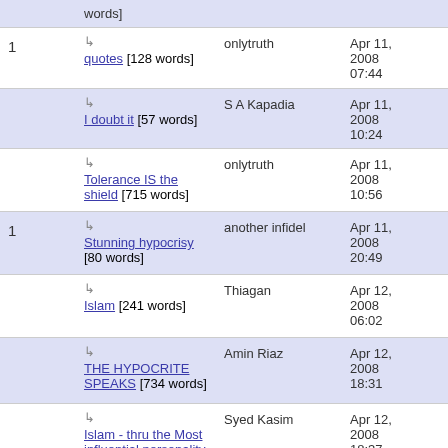| # | Title | Author | Date |
| --- | --- | --- | --- |
|  | words] |  |  |
| 1 | ↳ quotes [128 words] | onlytruth | Apr 11, 2008 07:44 |
|  | ↳ I doubt it [57 words] | S A Kapadia | Apr 11, 2008 10:24 |
|  | ↳ Tolerance IS the shield [715 words] | onlytruth | Apr 11, 2008 10:56 |
| 1 | ↳ Stunning hypocrisy [80 words] | another infidel | Apr 11, 2008 20:49 |
|  | ↳ Islam [241 words] | Thiagan | Apr 12, 2008 06:02 |
|  | ↳ THE HYPOCRITE SPEAKS [734 words] | Amin Riaz | Apr 12, 2008 18:31 |
|  | ↳ Islam - thru the Most influential personality in human history [83 words] | Syed Kasim | Apr 12, 2008 18:37 |
|  | ↳ Are we talking about the same Winston Churchill [...] | Amin Riaz | Apr 12, 2008 18:54 |